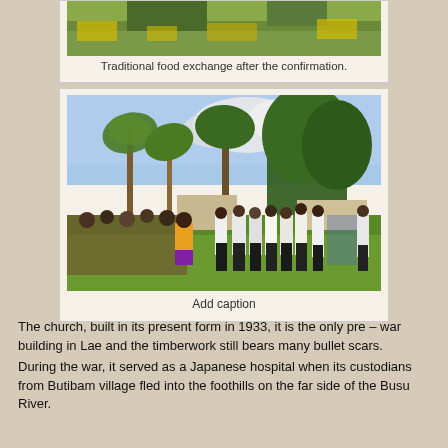[Figure (photo): Photo of traditional food exchange after a confirmation ceremony, showing people in a green field with yellow flowers.]
Traditional food exchange after the confirmation.
[Figure (photo): Group of people gathered on a green lawn with tropical palm trees and buildings in the background.]
Add caption
The church, built in its present form in 1933, it is the only pre – war building in Lae and the timberwork still bears many bullet scars.
During the war, it served as a Japanese hospital when its custodians from Butibam village fled into the foothills on the far side of the Busu River.